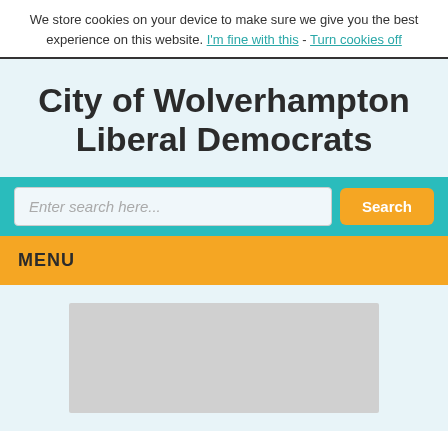We store cookies on your device to make sure we give you the best experience on this website. I'm fine with this - Turn cookies off
City of Wolverhampton Liberal Democrats
[Figure (screenshot): Search bar with teal background, text input placeholder 'Enter search here...', and orange 'Search' button]
MENU
[Figure (photo): Gray placeholder image box in the content area below the menu]